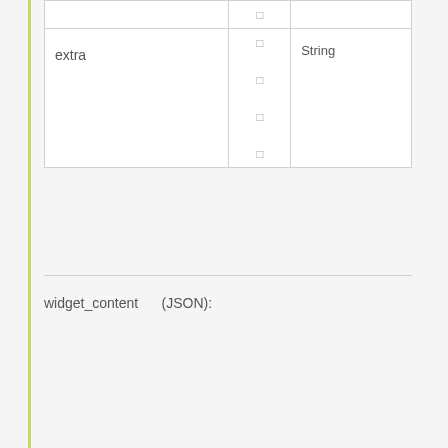| 필드명 | 필수 | 타입 | 설명 |
| --- | --- | --- | --- |
|  | □ |  |  |
| extra | □
□
□
□ | String |  |
widget_content (JSON):
| 필드명 | 필수 | 타입 | 설명 |
| --- | --- | --- | --- |
| 필드 | □
□ | 타입 | | |
| merchant_no | □
□
□ | String |  |